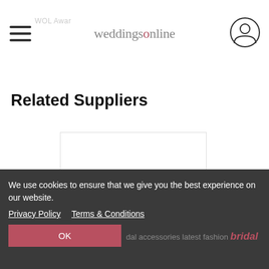weddingsonline
Related Suppliers
[Figure (logo): Weddingsonline logo with two interlocked rings and a diamond, in rose/dusty red color]
Schloss Prielau Hotel and Restaurants
We use cookies to ensure that we give you the best experience on our website.
Privacy Policy   Terms & Conditions
OK